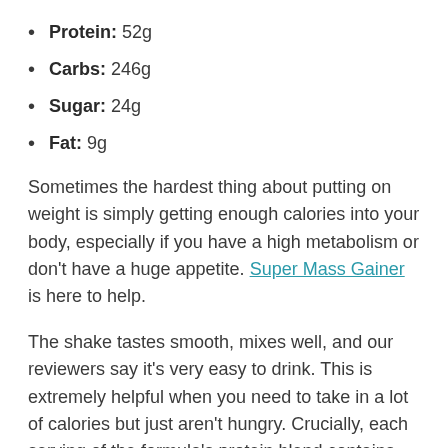Protein: 52g
Carbs: 246g
Sugar: 24g
Fat: 9g
Sometimes the hardest thing about putting on weight is simply getting enough calories into your body, especially if you have a high metabolism or don't have a huge appetite. Super Mass Gainer is here to help.
The shake tastes smooth, mixes well, and our reviewers say it's very easy to drink. This is extremely helpful when you need to take in a lot of calories but just aren't hungry. Crucially, each serving of the formula's protein blend contains 5.2 grams of leucine, the branched-chain amino acid chiefly involved in turning on muscle protein synthesis.